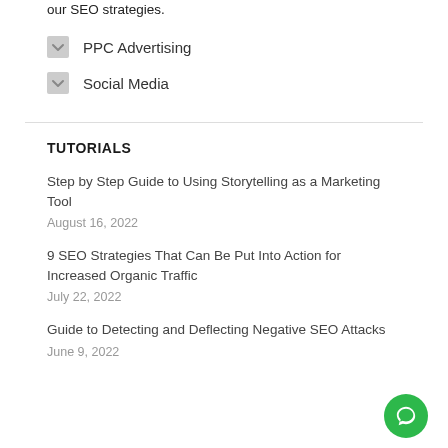our SEO strategies.
PPC Advertising
Social Media
TUTORIALS
Step by Step Guide to Using Storytelling as a Marketing Tool
August 16, 2022
9 SEO Strategies That Can Be Put Into Action for Increased Organic Traffic
July 22, 2022
Guide to Detecting and Deflecting Negative SEO Attacks
June 9, 2022